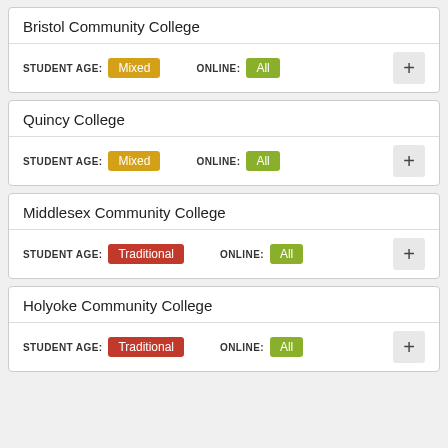Bristol Community College
STUDENT AGE: Mixed  ONLINE: All
Quincy College
STUDENT AGE: Mixed  ONLINE: All
Middlesex Community College
STUDENT AGE: Traditional  ONLINE: All
Holyoke Community College
STUDENT AGE: Traditional  ONLINE: All